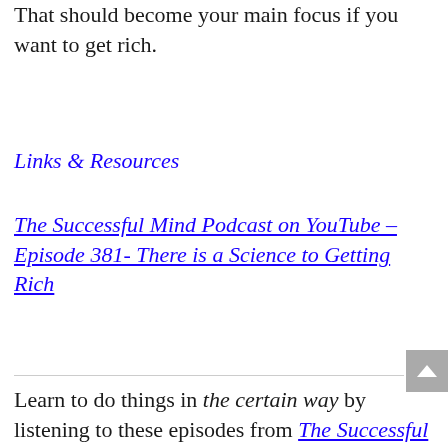That should become your main focus if you want to get rich.
Links & Resources
The Successful Mind Podcast on YouTube – Episode 381- There is a Science to Getting Rich
Learn to do things in the certain way by listening to these episodes from The Successful Mind Podcast: